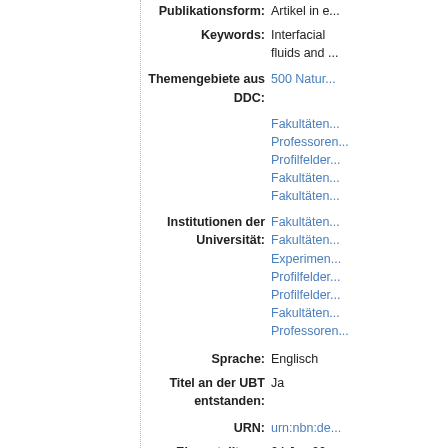Publikationsform: Artikel in e...
Keywords: Interfacial fluids and...
Themengebiete aus DDC: 500 Natur...
Fakultäten
Professoren
Profilfelder
Fakultäten
Fakultäten
Institutionen der Universität: Fakultäten
Fakultäten
Experimen...
Profilfelder
Profilfelder
Fakultäten
Professoren
Sprache: Englisch
Titel an der UBT entstanden: Ja
URN: urn:nbn:de...
Eingestellt am: 24 Jan 20...
Letzte Änderung: 03 Jul 202...
URL: https://ep...